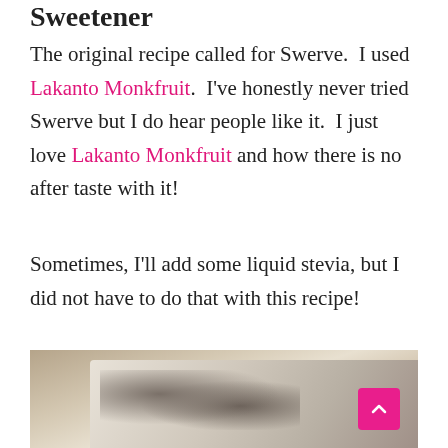Sweetener
The original recipe called for Swerve.  I used Lakanto Monkfruit.  I've honestly never tried Swerve but I do hear people like it.  I just love Lakanto Monkfruit and how there is no after taste with it!
Sometimes, I'll add some liquid stevia, but I did not have to do that with this recipe!
[Figure (photo): Close-up photo of a baked dish in a glass pan, showing what appears to be a cracker or flatbread with a lightly browned, speckled surface on a burlap or textured cloth background.]